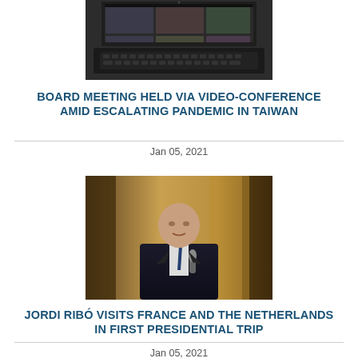[Figure (photo): Photo of a laptop open on a desk, showing a video-conference screen with multiple participants]
BOARD MEETING HELD VIA VIDEO-CONFERENCE AMID ESCALATING PANDEMIC IN TAIWAN
Jan 05, 2021
[Figure (photo): Photo of a bald man in a dark suit holding a microphone, standing in front of an ornate background]
JORDI RIBÓ VISITS FRANCE AND THE NETHERLANDS IN FIRST PRESIDENTIAL TRIP
Jan 05, 2021